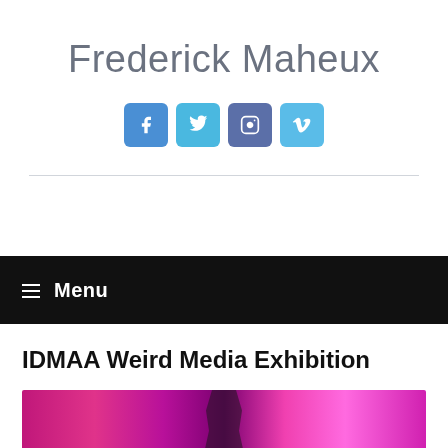Frederick Maheux
[Figure (infographic): Row of four social media icon buttons: Facebook (blue), Twitter (cyan), Instagram (slate blue), Vimeo (light blue)]
Menu
IDMAA Weird Media Exhibition
[Figure (photo): Colorful photo with pink and magenta background tones, silhouette of a person visible in center]